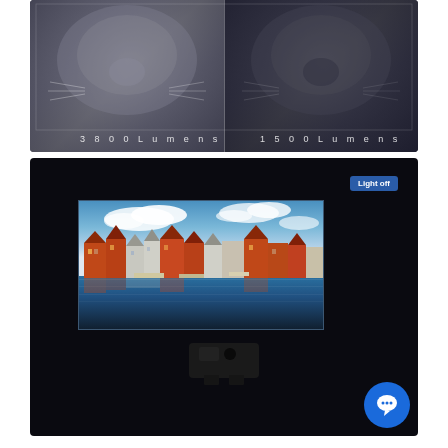[Figure (photo): Comparison photo of a cat showing brightness difference: left half labeled '3800 Lumens' (brighter) and right half labeled '1500 Lumens' (dimmer), illustrating projector lumen output comparison.]
[Figure (photo): Photo of a projector displaying a harbor/waterfront scene (colorful buildings with orange roofs reflected in water) on a screen in a dark room. A 'Light off' badge appears in the top-right corner of the image. A blue circular chat icon is visible in the bottom-right corner.]